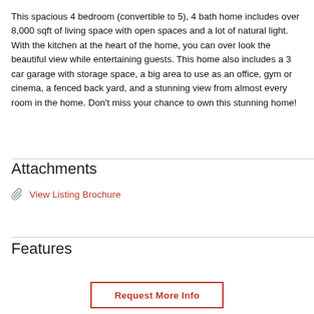This spacious 4 bedroom (convertible to 5), 4 bath home includes over 8,000 sqft of living space with open spaces and a lot of natural light. With the kitchen at the heart of the home, you can over look the beautiful view while entertaining guests. This home also includes a 3 car garage with storage space, a big area to use as an office, gym or cinema, a fenced back yard, and a stunning view from almost every room in the home. Don't miss your chance to own this stunning home!
Attachments
View Listing Brochure
Features
Request More Info